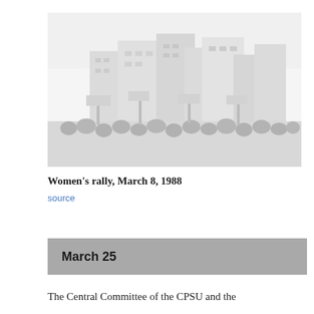[Figure (photo): Black and white photograph of a women's rally, showing a crowd gathered outdoors, likely in a Soviet city setting, March 8, 1988.]
Women's rally, March 8, 1988
source
March 25
The Central Committee of the CPSU and the